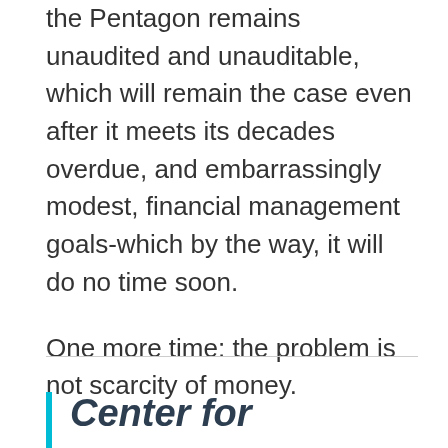the Pentagon remains unaudited and un-auditable, which will remain the case even after it meets its decades overdue, and embarrassingly modest, financial management goals-which by the way, it will do no time soon.
One more time: the problem is not scarcity of money.
Center for